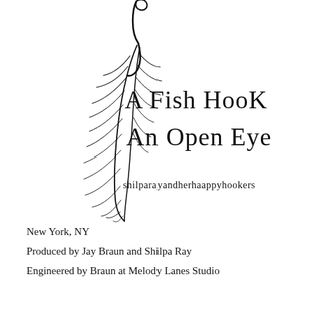[Figure (illustration): Hand-drawn sketch of a fish hook with feathery lure hanging from it, drawn in black ink. To the right of the sketch: handwritten-style text reading 'A Fish Hook An Open Eye' and below that 'shilparayandherhaappyhookers'.]
New York, NY
Produced by Jay Braun and Shilpa Ray
Engineered by Braun at Melody Lanes Studio